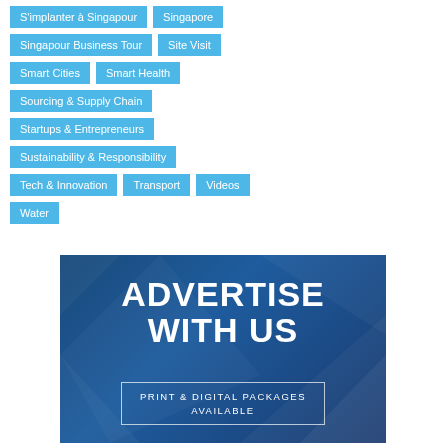S'implanter à Singapour
Singapore
Singapour Business Tour
Site Visit
Smart Cities
Smart Health
Sourcing & Supply Chain
Startups & Entrepreneurs
Sustainability & Responsibility
Tech & Innovation
Transport
Videos
Water
[Figure (infographic): Advertise With Us banner — dark blue background with geometric shapes, large white bold text 'ADVERTISE WITH US', and a bordered box with text 'PRINT & DIGITAL PACKAGES AVAILABLE']